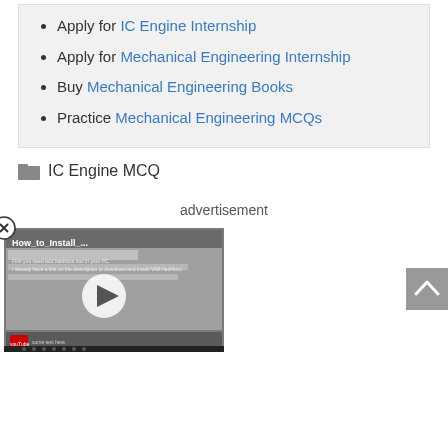Apply for IC Engine Internship
Apply for Mechanical Engineering Internship
Buy Mechanical Engineering Books
Practice Mechanical Engineering MCQs
IC Engine MCQ
advertisement
[Figure (screenshot): Video thumbnail showing 'How_to_Install_...' with a play button overlay, displayed as a floating video widget with a close (X) button in the top-left corner]
[Figure (other): Gray scroll-to-top button with upward chevron arrow on the right side]